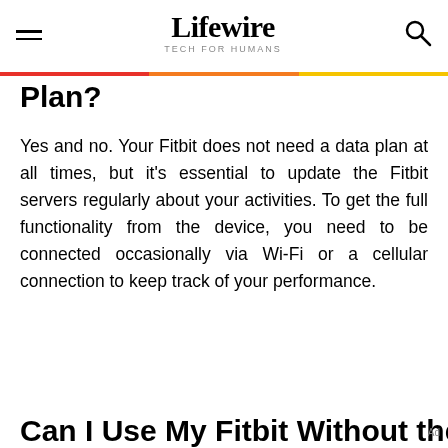Lifewire TECH FOR HUMANS
Plan?
Yes and no. Your Fitbit does not need a data plan at all times, but it's essential to update the Fitbit servers regularly about your activities. To get the full functionality from the device, you need to be connected occasionally via Wi-Fi or a cellular connection to keep track of your performance.
Can I Use My Fitbit Without the